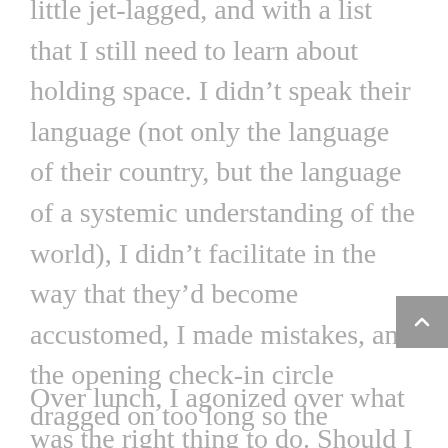little jet-lagged, and with a list that I still need to learn about holding space. I didn't speak their language (not only the language of their country, but the language of a systemic understanding of the world), I didn't facilitate in the way that they'd become accustomed, I made mistakes, and the opening check-in circle dragged on too long so the opening pace was slow.
Over lunch, I agonized over what was the right thing to do. Should I